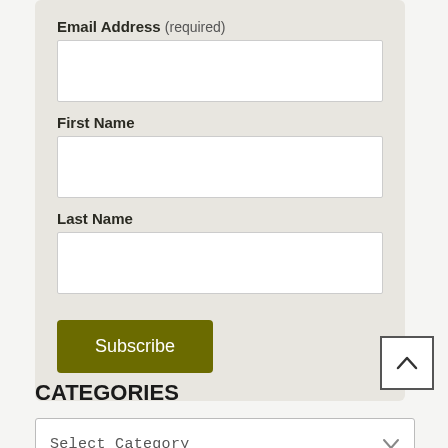Email Address (required)
[Figure (screenshot): Empty white text input field for Email Address]
First Name
[Figure (screenshot): Empty white text input field for First Name]
Last Name
[Figure (screenshot): Empty white text input field for Last Name]
Subscribe
[Figure (screenshot): Back to top button with upward chevron arrow]
CATEGORIES
[Figure (screenshot): Dropdown selector showing 'Select Category' with chevron]